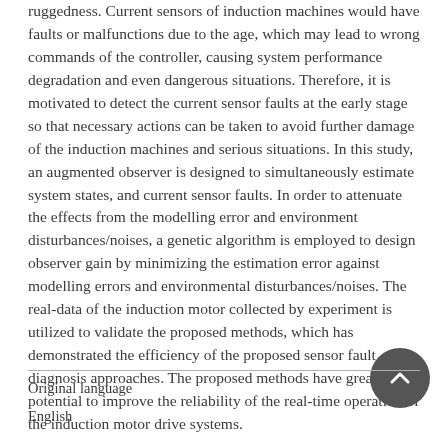ruggedness. Current sensors of induction machines would have faults or malfunctions due to the age, which may lead to wrong commands of the controller, causing system performance degradation and even dangerous situations. Therefore, it is motivated to detect the current sensor faults at the early stage so that necessary actions can be taken to avoid further damage of the induction machines and serious situations. In this study, an augmented observer is designed to simultaneously estimate system states, and current sensor faults. In order to attenuate the effects from the modelling error and environment disturbances/noises, a genetic algorithm is employed to design observer gain by minimizing the estimation error against modelling errors and environmental disturbances/noises. The real-data of the induction motor collected by experiment is utilized to validate the proposed methods, which has demonstrated the efficiency of the proposed sensor fault diagnosis approaches. The proposed methods have great potential to improve the reliability of the real-time operation of the induction motor drive systems.
Original language
English